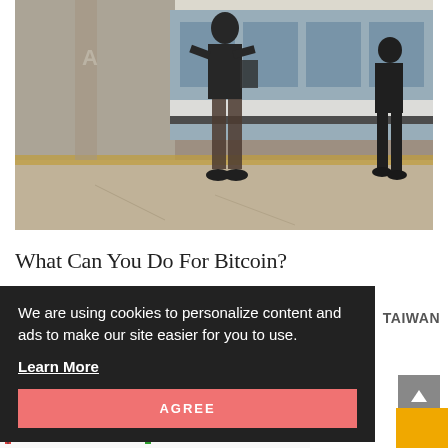[Figure (photo): Grainy black-and-white photo of people on a subway/metro platform. Two figures visible without pants, standing near a train. The train has windows and a white stripe visible. Platform has a yellow safety line.]
What Can You Do For Bitcoin?
We are using cookies to personalize content and ads to make our site easier for you to use.

Learn More

AGREE
TAIWAN